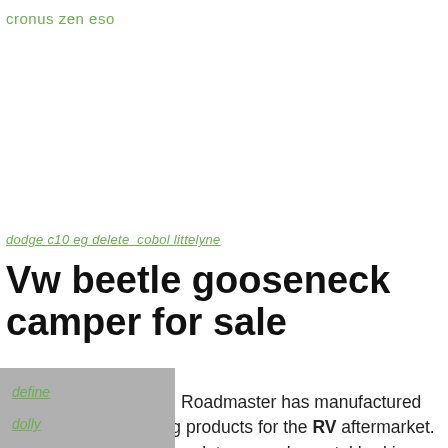cronus zen eso
dodge c10 eg delete cobol littelyne
Vw beetle gooseneck camper for sale
For the past 50 years, Roadmaster has manufactured superior-quality towing products for the RV aftermarket. We build tow bars, baseplates, supplemental braking systems, wiring kits and trailer suspensions, among other products. We are based in the Pacific
define
dolly